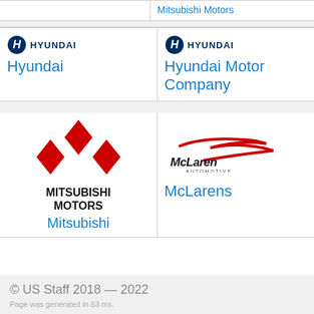[Figure (logo): Mitsubishi Motors text in blue (truncated at top)]
[Figure (logo): Hyundai logo with H emblem and HYUNDAI text, with brand name Hyundai in blue]
[Figure (logo): Hyundai logo with H emblem and HYUNDAI text, with brand name Hyundai Motor Company in blue]
[Figure (logo): Mitsubishi Motors logo with three red diamonds and MITSUBISHI MOTORS text, brand name Mitsubishi in blue]
[Figure (logo): McLaren Automotive logo with swoosh, brand name McLarens in blue]
© US Staff 2018 — 2022
Page was generated in 63 ms.